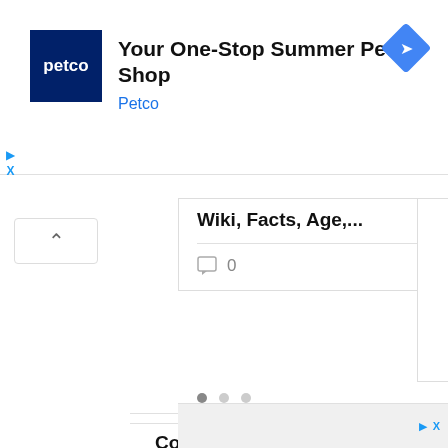[Figure (screenshot): Petco advertisement banner: Petco logo (dark blue square with white text 'petco'), headline 'Your One-Stop Summer Pet Shop', brand name 'Petco' in blue, and a blue diamond-shaped navigation icon on the right. Play and close (X) controls visible on the left.]
Wiki, Facts, Age,...
0  16 ♥
Comments
Write a comment...
[Figure (photo): Bottom advertisement showing a partial view of a car and people in the background.]